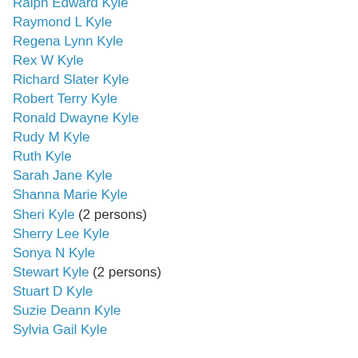Ralph Edward Kyle
Raymond L Kyle
Regena Lynn Kyle
Rex W Kyle
Richard Slater Kyle
Robert Terry Kyle
Ronald Dwayne Kyle
Rudy M Kyle
Ruth Kyle
Sarah Jane Kyle
Shanna Marie Kyle
Sheri Kyle (2 persons)
Sherry Lee Kyle
Sonya N Kyle
Stewart Kyle (2 persons)
Stuart D Kyle
Suzie Deann Kyle
Sylvia Gail Kyle